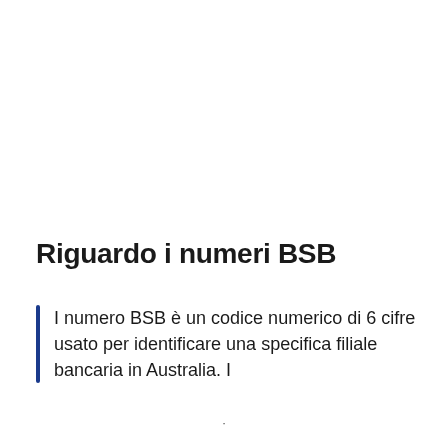Riguardo i numeri BSB
I numero BSB è un codice numerico di 6 cifre usato per identificare una specifica filiale bancaria in Australia. I